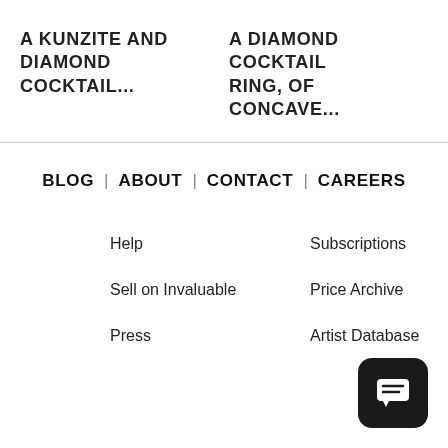A KUNZITE AND DIAMOND COCKTAIL...
A DIAMOND COCKTAIL RING, of concave...
BLOG | ABOUT | CONTACT | CAREERS
Help
Subscriptions
Sell on Invaluable
Price Archive
Press
Artist Database